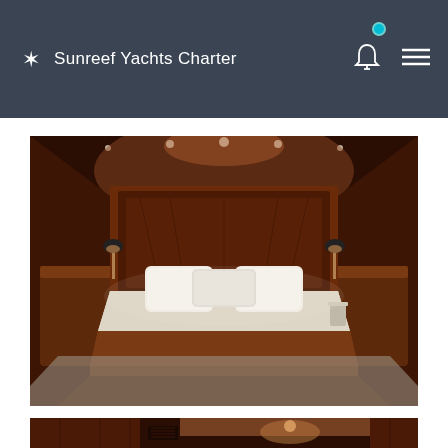Sunreef Yachts Charter
[Figure (photo): Luxury yacht master cabin interior with a large double bed with white linens and pillows, rich dark wood paneling and cabinetry, warm recessed lighting in the ceiling, wall-mounted reading lamps on both sides of the headboard, and built-in wood furniture along the sides of the curved cabin.]
[Figure (photo): Partial view of yacht interior hallway with dark wood paneling and warm overhead lighting.]